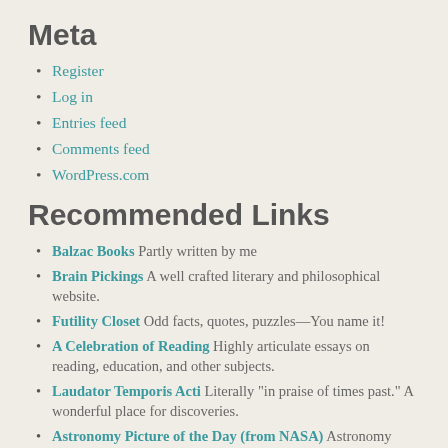Meta
Register
Log in
Entries feed
Comments feed
WordPress.com
Recommended Links
Balzac Books Partly written by me
Brain Pickings A well crafted literary and philosophical website.
Futility Closet Odd facts, quotes, puzzles—You name it!
A Celebration of Reading Highly articulate essays on reading, education, and other subjects.
Laudator Temporis Acti Literally "in praise of times past." A wonderful place for discoveries.
Astronomy Picture of the Day (from NASA) Astronomy Picture of the Day
Ask the Pilot A blog about flying by a knowledgeable and articulate commercial pilot